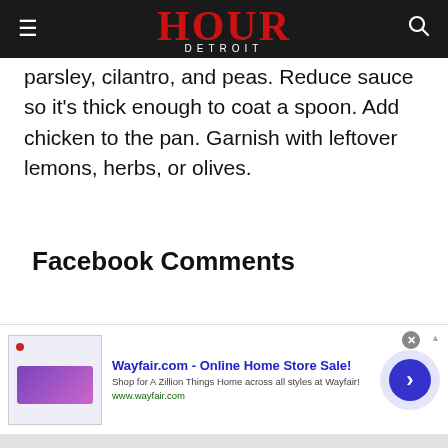HOUR DETROIT
parsley, cilantro, and peas. Reduce sauce so it's thick enough to coat a spoon. Add chicken to the pan. Garnish with leftover lemons, herbs, or olives.
Facebook Comments
TAGS  Recipes & Food
[Figure (screenshot): Wayfair.com advertisement banner with title 'Wayfair.com - Online Home Store Sale!', subtitle 'Shop for A Zillion Things Home across all styles at Wayfair!', URL 'www.wayfair.com', a product image thumbnail, and a blue arrow button.]